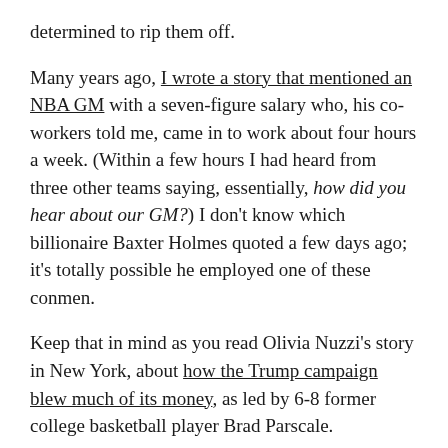determined to rip them off.
Many years ago, I wrote a story that mentioned an NBA GM with a seven-figure salary who, his co-workers told me, came in to work about four hours a week. (Within a few hours I had heard from three other teams saying, essentially, how did you hear about our GM?) I don't know which billionaire Baxter Holmes quoted a few days ago; it's totally possible he employed one of these conmen.
Keep that in mind as you read Olivia Nuzzi's story in New York, about how the Trump campaign blew much of its money, as led by 6-8 former college basketball player Brad Parscale.
“He was never there,” a senior White House official said. “He’d make phone calls from his house in